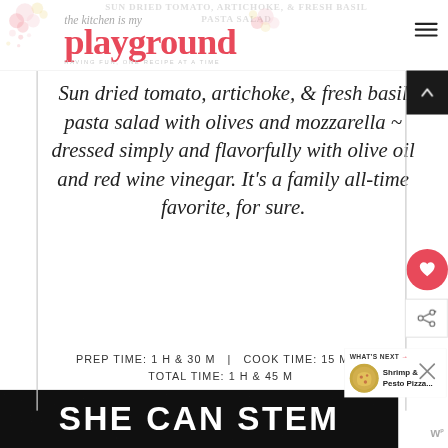the kitchen is my playground — HAVING FUN, ONE RECIPE AT A TIME
SUN DRIED TOMATO, ARTICHOKE, & FRESH BASIL PASTA SALAD
Sun dried tomato, artichoke, & fresh basil pasta salad with olives and mozzarella ~ dressed simply and flavorfully with olive oil and red wine vinegar. It's a family all-time favorite, for sure.
PREP TIME: 1 H & 30 M  |  COOK TIME: 15 M  |  TOTAL TIME: 1 H & 45 M
WHAT'S NEXT → Shrimp & Pesto Pizza...
SHE CAN STEM